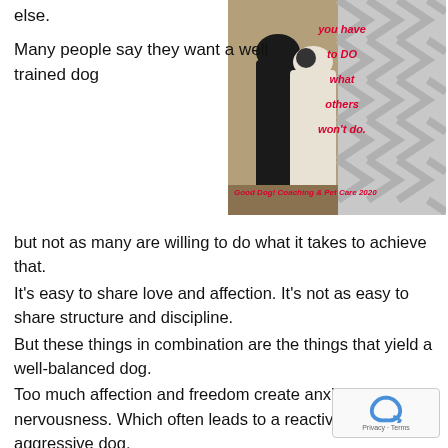else.
[Figure (photo): Photo of two dogs (one black, one white/brindle) standing on a sandy/stone ground, with a motivational text overlay on the right side reading 'you have to DO what others won't do.' and a caption 'Good Dog! Coaching & Pet Care 2020']
Many people say they want a well trained dog but not as many are willing to do what it takes to achieve that.
It's easy to share love and affection. It's not as easy to share structure and discipline.
But these things in combination are the things that yield a well-balanced dog.
Too much affection and freedom create anxiety and nervousness. Which often leads to a reactive even aggressive dog.
Implementing a level of structure, leadership and boundaries will create a relaxed, well adjusted dog.